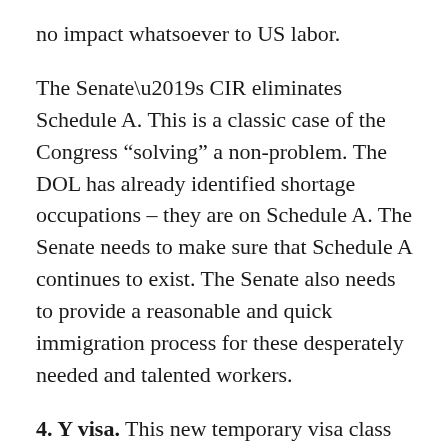no impact whatsoever to US labor.
The Senate’s CIR eliminates Schedule A. This is a classic case of the Congress “solving” a non-problem. The DOL has already identified shortage occupations – they are on Schedule A. The Senate needs to make sure that Schedule A continues to exist. The Senate also needs to provide a reasonable and quick immigration process for these desperately needed and talented workers.
4. Y visa. This new temporary visa class creates a quasi slave-trade that will likely result in yet another undocumented migrant worker “problem” in just a few years. The Y visa allows non-H-1 workers to enter the US to work for 2 years (often